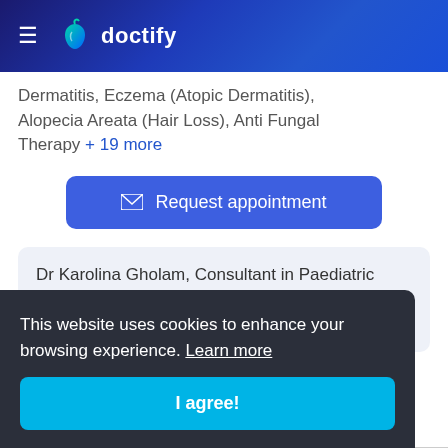doctify
Dermatitis, Eczema (Atopic Dermatitis), Alopecia Areata (Hair Loss), Anti Fungal Therapy +19 more
Request appointment
Dr Karolina Gholam, Consultant in Paediatric Dermatology, currently works within the Read more
This website uses cookies to enhance your browsing experience. Learn more
I agree!